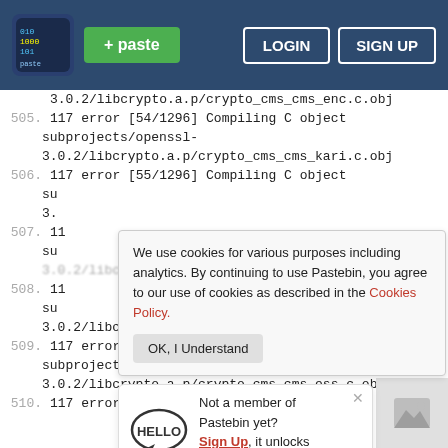Pastebin navigation bar with logo, paste button, LOGIN and SIGN UP buttons
3.0.2/libcrypto.a.p/crypto_cms_cms_enc.c.obj
505. 117 error [54/1296] Compiling C object subprojects/openssl-3.0.2/libcrypto.a.p/crypto_cms_cms_kari.c.obj
506. 117 error [55/1296] Compiling C object su 3.
507. 11 su
3.0.2/libcrypto.a.p/crypto_cms_cms_pwri.c.obj
508. 11 su 3.0.2/libcrypto.a.p/crypto_cms_cms_rsa.c.obj
509. 117 error [58/1296] Compiling C object subprojects/openssl-3.0.2/libcrypto.a.p/crypto_cms_cms_ess.c.obj
510. 117 error [59/1296] Compiling C object
We use cookies for various purposes including analytics. By continuing to use Pastebin, you agree to our use of cookies as described in the Cookies Policy. OK, I Understand
Not a member of Pastebin yet? Sign Up, it unlocks many cool features!